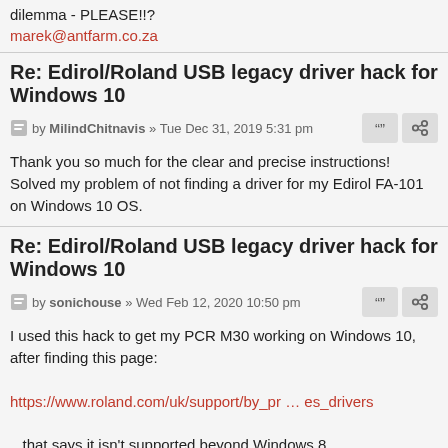dilemma - PLEASE!!?
marek@antfarm.co.za
Re: Edirol/Roland USB legacy driver hack for Windows 10
by MilindChitnavis » Tue Dec 31, 2019 5:31 pm
Thank you so much for the clear and precise instructions! Solved my problem of not finding a driver for my Edirol FA-101 on Windows 10 OS.
Re: Edirol/Roland USB legacy driver hack for Windows 10
by sonichouse » Wed Feb 12, 2020 10:50 pm
I used this hack to get my PCR M30 working on Windows 10, after finding this page:
https://www.roland.com/uk/support/by_pr … es_drivers
...that says it isn't supported beyond Windows 8.
However, I then happened upon this page:
https://rolandus.zendesk.com/hc/en-us/a … river-Mode